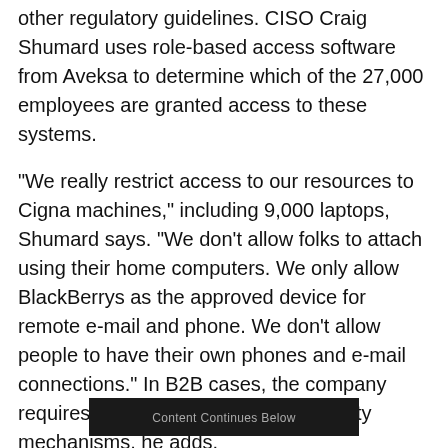other regulatory guidelines. CISO Craig Shumard uses role-based access software from Aveksa to determine which of the 27,000 employees are granted access to these systems.
"We really restrict access to our resources to Cigna machines," including 9,000 laptops, Shumard says. "We don't allow folks to attach using their home computers. We only allow BlackBerrys as the approved device for remote e-mail and phone. We don't allow people to have their own phones and e-mail connections." In B2B cases, the company requires VPNs or other types of security mechanisms, he adds.
Content Continues Below